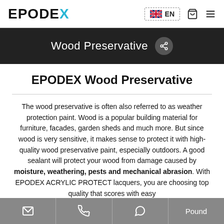EPODEX | EN | Cart | Menu
Wood Preservative
EPODEX Wood Preservative
The wood preservative is often also referred to as weather protection paint. Wood is a popular building material for furniture, facades, garden sheds and much more. But since wood is very sensitive, it makes sense to protect it with high-quality wood preservative paint, especially outdoors. A good sealant will protect your wood from damage caused by moisture, weathering, pests and mechanical abrasion. With EPODEX ACRYLIC PROTECT lacquers, you are choosing top quality that scores with easy
Email | Phone | WhatsApp | Pound